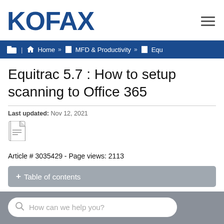KOFAX
Home » MFD & Productivity » Equ
Equitrac 5.7 : How to setup scanning to Office 365
Last updated: Nov 12, 2021
[Figure (other): PDF file icon]
Article # 3035429 - Page views: 2113
+ Table of contents
How can we help you?